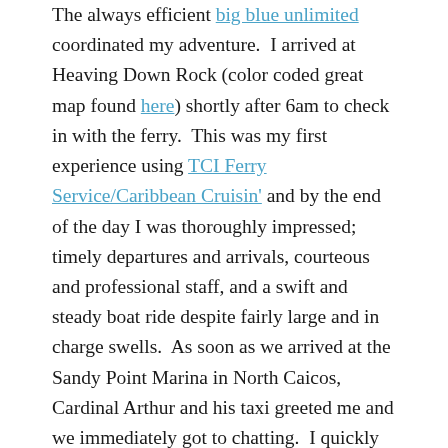The always efficient big blue unlimited coordinated my adventure.  I arrived at Heaving Down Rock (color coded great map found here) shortly after 6am to check in with the ferry.  This was my first experience using TCI Ferry Service/Caribbean Cruisin' and by the end of the day I was thoroughly impressed; timely departures and arrivals, courteous and professional staff, and a swift and steady boat ride despite fairly large and in charge swells.  As soon as we arrived at the Sandy Point Marina in North Caicos, Cardinal Arthur and his taxi greeted me and we immediately got to chatting.  I quickly discovered Cardinal Arthur is a 5th generation Turks and Caicos Islander, his legacy pre-dated by his father, Clementine Arthur, and his father's father, Cain Arthur.  The original Arthur was an African slave who labored in Bermuda before his assignment on John Lorimer's Haulover Plantation in Middle Caicos.  To read more about Haulover, please click here.  Cardinal's mother, Ida Forbes (another long standing Turks and Caicos namesake) passed away when he was only twelve years old.  Cardinal shared